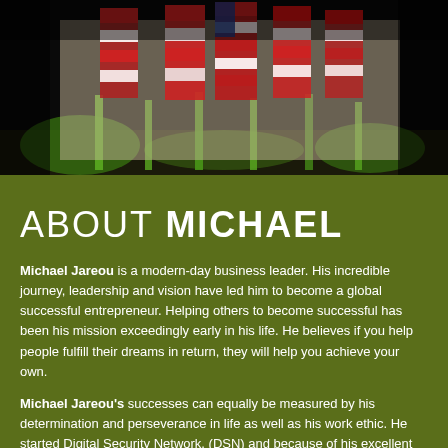[Figure (photo): Photo of a stage or podium area with several flags (red, white, green colors) lit by green stage lighting against a dark background.]
ABOUT MICHAEL
Michael Jareou is a modern-day business leader. His incredible journey, leadership and vision have led him to become a global successful entrepreneur. Helping others to become successful has been his mission exceedingly early in his life. He believes if you help people fulfill their dreams in return, they will help you achieve your own.
Michael Jareou's successes can equally be measured by his determination and perseverance in life as well as his work ethic. He started Digital Security Network, (DSN) and because of his excellent business capabilities, DSN became one of the biggest electronic security companies in the USA. He then sold DSN, to Ameritech, a Fortune 100 company.